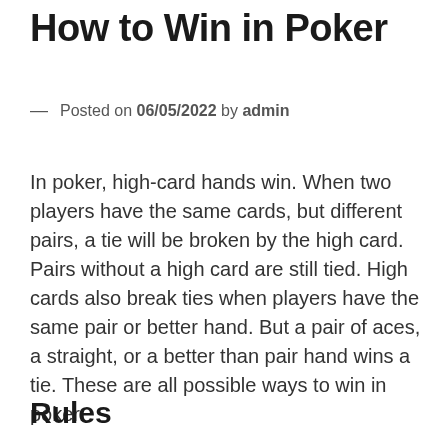How to Win in Poker
— Posted on 06/05/2022 by admin
In poker, high-card hands win. When two players have the same cards, but different pairs, a tie will be broken by the high card. Pairs without a high card are still tied. High cards also break ties when players have the same pair or better hand. But a pair of aces, a straight, or a better than pair hand wins a tie. These are all possible ways to win in poker.
Rules